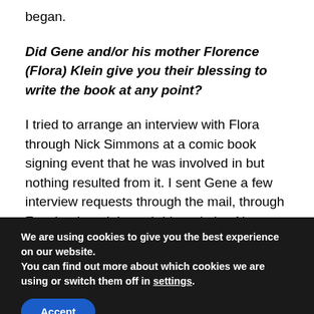began.
Did Gene and/or his mother Florence (Flora) Klein give you their blessing to write the book at any point?
I tried to arrange an interview with Flora through Nick Simmons at a comic book signing event that he was involved in but nothing resulted from it. I sent Gene a few interview requests through the mail, through Facebook and through his website. No
We are using cookies to give you the best experience on our website.
You can find out more about which cookies we are using or switch them off in settings.
Accept